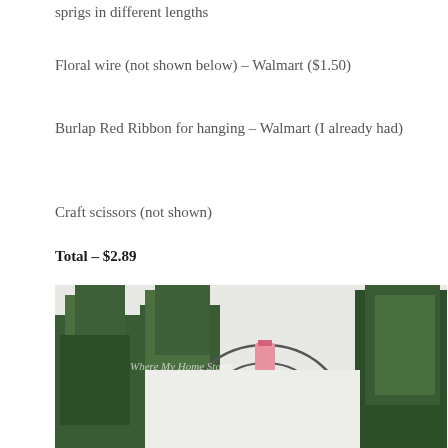sprigs in different lengths
Floral wire (not shown below) – Walmart ($1.50)
Burlap Red Ribbon for hanging – Walmart (I already had)
Craft scissors (not shown)
Total – $2.89
[Figure (photo): Top-down photo of craft supplies: green boxwood sprigs and a wire wreath frame on a white surface, with a small pink floral wire package in the center]